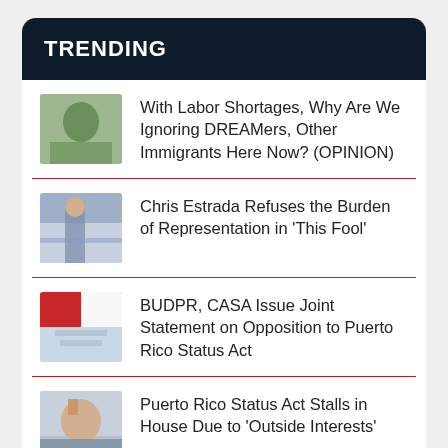TRENDING
With Labor Shortages, Why Are We Ignoring DREAMers, Other Immigrants Here Now? (OPINION)
Chris Estrada Refuses the Burden of Representation in 'This Fool'
BUDPR, CASA Issue Joint Statement on Opposition to Puerto Rico Status Act
Puerto Rico Status Act Stalls in House Due to 'Outside Interests'
White Latinos Don't Exist,